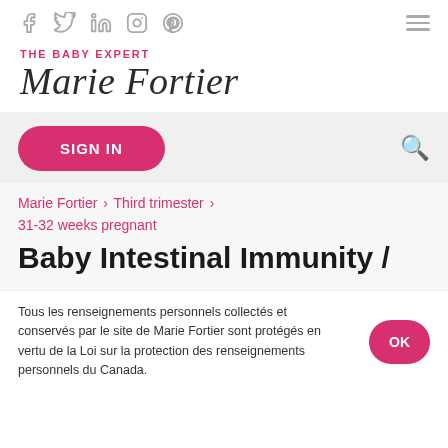Social icons: Facebook, Twitter, LinkedIn, Instagram, Pinterest | Hamburger menu
THE BABY EXPERT Marie Fortier
SIGN IN
Marie Fortier > Third trimester > 31-32 weeks pregnant
Baby Intestinal Immunity /
Tous les renseignements personnels collectés et conservés par le site de Marie Fortier sont protégés en vertu de la Loi sur la protection des renseignements personnels du Canada.